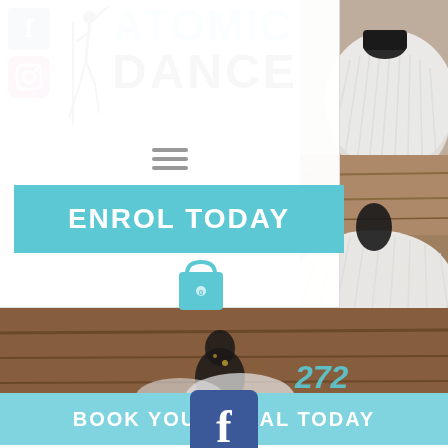[Figure (logo): Atomic Dance logo with dancer silhouette, Facebook and Instagram social icons on the left, teal ATOMIC and black DANCE text]
[Figure (photo): Ballet tutu close-up photos on right side strip - two photos showing white tutu with black leotard against wooden background]
[Figure (illustration): Hamburger menu icon (three horizontal lines)]
ENROL TODAY
[Figure (illustration): Shopping bag icon in teal with number 0]
[Figure (photo): Bottom full-width photo of dancer in black leotard on wooden floor background]
BOOK YOUR TRIAL TODAY
[Figure (logo): Facebook logo icon at bottom center]